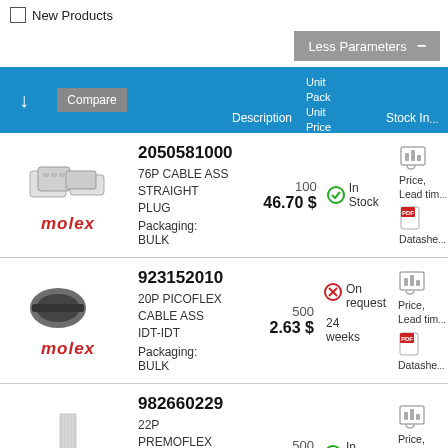New Products
Less Parameters —
| ↓ | Compare | Description | Unit Pack Unit Price | Stock In... |
| --- | --- | --- | --- | --- |
| [molex image] molex | 2050581000
76P CABLE ASS STRAIGHT PLUG
Packaging: BULK | 100
46.70 $ | In Stock | Price, Lead tim...
Datasheet |
| [molex image] molex | 923152010
20P PICOFLEX CABLE ASS IDT-IDT
Packaging: BULK | 500
2.63 $ | On request
24 weeks | Price, Lead tim...
Datasheet |
| [molex image] molex | 982660229
22P PREMOFLEX L=051 VERSION A
Packaging: BULK | 500
3.17 $ | In Stock | Price, Lead tim...
Datasheet |